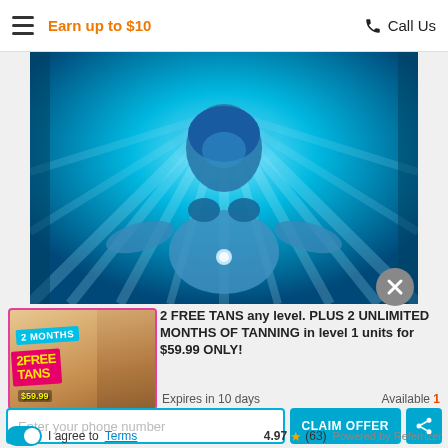Earn up to $10   Call Us
[Figure (photo): Person lying in a tanning bed viewed from above, with blue UV light rays radiating outward]
[Figure (photo): Promotional thumbnail image for Pacific tanning salon showing '2 MONTHS 2 FREE TANS $59.99' offer with woman posing]
2 FREE TANS any level. PLUS 2 UNLIMITED MONTHS OF TANNING in level 1 units for $59.99 ONLY!
Expires in 10 days
Available 1
Enter your phone number
CLAIM OFFER
I agree to Terms
4.97 ★ (63)  Powered by Referrizer